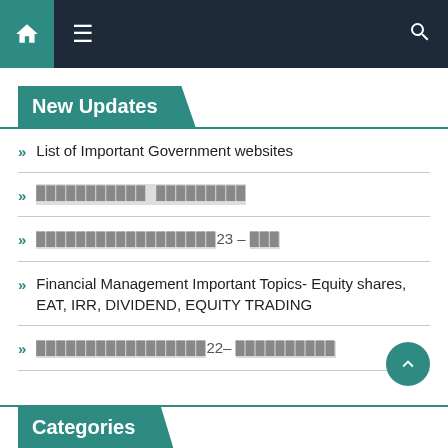Navigation bar with home, menu, and search icons
New Updates
List of Important Government websites
[non-Latin text]
[non-Latin text]23 – [non-Latin text]
Financial Management Important Topics- Equity shares, EAT, IRR, DIVIDEND, EQUITY TRADING
[non-Latin text]22– [non-Latin text]
Categories